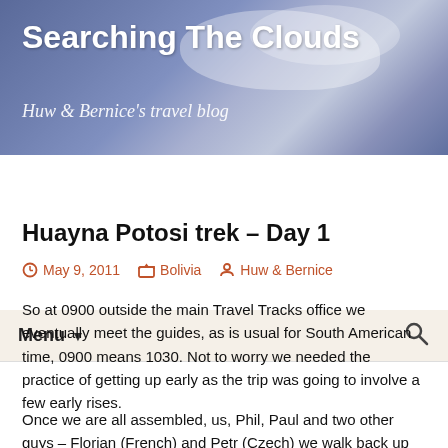Searching The Clouds — Huw & Bernice's travel blog
Huayna Potosi trek – Day 1
May 9, 2011   Bolivia   Huw & Bernice
So at 0900 outside the main Travel Tracks office we eventually meet the guides, as is usual for South American time, 0900 means 1030. Not to worry we needed the practice of getting up early as the trip was going to involve a few early rises.
Once we are all assembled, us, Phil, Paul and two other guys – Florian (French) and Petr (Czech) we walk back up the hill